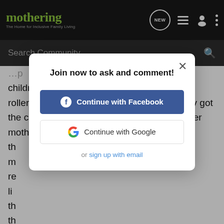mothering — The Home for Inclusive Family Living
Search Community
children , all who have been through a rollercoaster of a childhood. Now that I finally got the courage to end the marriage, I am a better mother. I am more at peace and happier th... wheeew!! Guess that means I think marriage is worth it.. but only when your heart tells you that you have found your soulmate.. and
[Figure (screenshot): Modal dialog with title 'Join now to ask and comment!' with buttons: Continue with Facebook, Continue with Google, and a link 'sign up with email']